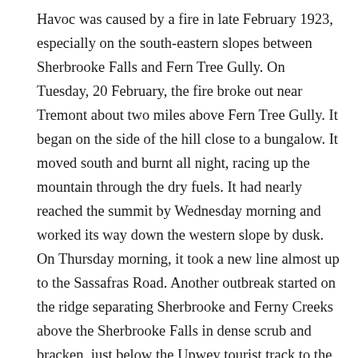Havoc was caused by a fire in late February 1923, especially on the south-eastern slopes between Sherbrooke Falls and Fern Tree Gully. On Tuesday, 20 February, the fire broke out near Tremont about two miles above Fern Tree Gully. It began on the side of the hill close to a bungalow. It moved south and burnt all night, racing up the mountain through the dry fuels. It had nearly reached the summit by Wednesday morning and worked its way down the western slope by dusk. On Thursday morning, it took a new line almost up to the Sassafras Road. Another outbreak started on the ridge separating Sherbrooke and Ferny Creeks above the Sherbrooke Falls in dense scrub and bracken, just below the Upwey tourist track to the falls. The fire raced up the hill towards Ferny Creek. Houses were saved, and only fences and sheds damaged. The forester in charge of the district and his small workforce worked hard to cut a track ahead of the flames as they feared if the fire turned back, Sherbrooke Falls, Jacobs Ladder and the Fern Bower would be destroyed. They were credited with saving the townships of Belgrave, Sherbrooke and South Sassafras.[14] There was